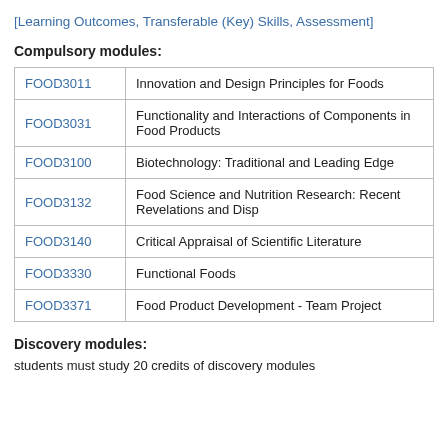[Learning Outcomes, Transferable (Key) Skills, Assessment]
Compulsory modules:
| Code | Title |
| --- | --- |
| FOOD3011 | Innovation and Design Principles for Foods |
| FOOD3031 | Functionality and Interactions of Components in Food Products |
| FOOD3100 | Biotechnology: Traditional and Leading Edge |
| FOOD3132 | Food Science and Nutrition Research: Recent Revelations and Disp... |
| FOOD3140 | Critical Appraisal of Scientific Literature |
| FOOD3330 | Functional Foods |
| FOOD3371 | Food Product Development - Team Project |
Discovery modules:
students must study 20 credits of discovery modules